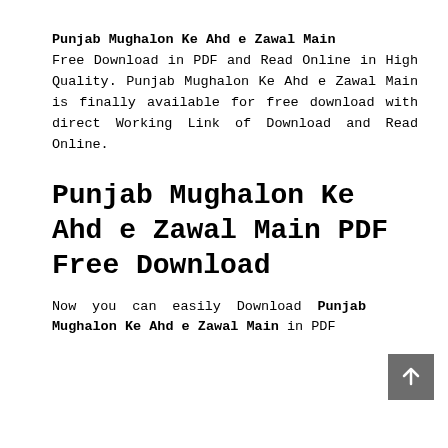Punjab Mughalon Ke Ahd e Zawal Main
Free Download in PDF and Read Online in High Quality. Punjab Mughalon Ke Ahd e Zawal Main is finally available for free download with direct Working Link of Download and Read Online.
Punjab Mughalon Ke Ahd e Zawal Main PDF Free Download
Now you can easily Download Punjab Mughalon Ke Ahd e Zawal Main in PDF Format by clicking the Download button...